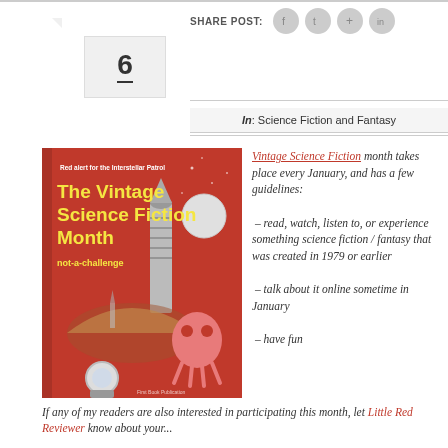SHARE POST:
In: Science Fiction and Fantasy
[Figure (illustration): Book cover for 'The Vintage Science Fiction Month not-a-challenge' on a red background with retro sci-fi artwork showing rockets, alien creature, and astronaut. Text reads: 'Red alert for the Interstellar Patrol' and 'First Book Publication'.]
Vintage Science Fiction month takes place every January, and has a few guidelines:
 – read, watch, listen to, or experience something science fiction / fantasy that was created in 1979 or earlier
 – talk about it online sometime in January
 – have fun
If any of my readers are also interested in participating this month, let Little Red Reviewer know about your...